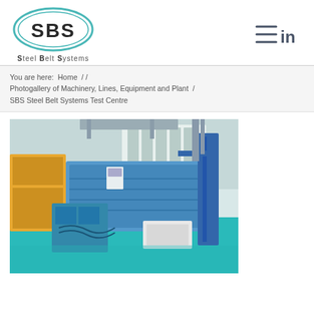[Figure (logo): SBS Steel Belt Systems logo — oval shape with concentric borders in teal/green, bold letters S B S inside, tagline 'Steel Belt Systems' below]
[Figure (other): LinkedIn and hamburger menu icons in top right corner]
You are here:  Home  /  /
Photogallery of Machinery, Lines, Equipment and Plant  /
SBS Steel Belt Systems Test Centre
[Figure (photo): Industrial factory interior showing steel belt machinery and equipment. Large blue industrial machines and conveyors on a teal/turquoise floor. Hydraulic systems visible on left; tall blue frame structure on right. Large windows along the back wall let in natural light.]